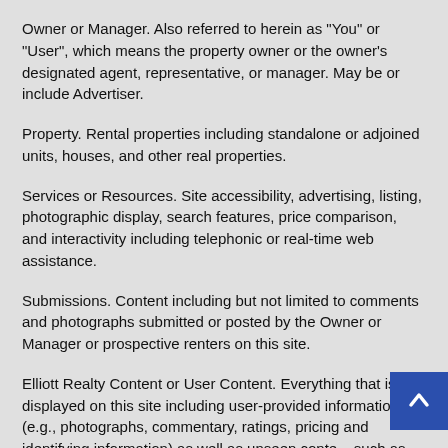Owner or Manager. Also referred to herein as "You" or "User", which means the property owner or the owner's designated agent, representative, or manager. May be or include Advertiser.
Property. Rental properties including standalone or adjoined units, houses, and other real properties.
Services or Resources. Site accessibility, advertising, listing, photographic display, search features, price comparison, and interactivity including telephonic or real-time web assistance.
Submissions. Content including but not limited to comments and photographs submitted or posted by the Owner or Manager or prospective renters on this site.
Elliott Realty Content or User Content. Everything that is displayed on this site including user-provided information (e.g., photographs, commentary, ratings, pricing and identifying information) as well as unseen content such as computer code and metadata.